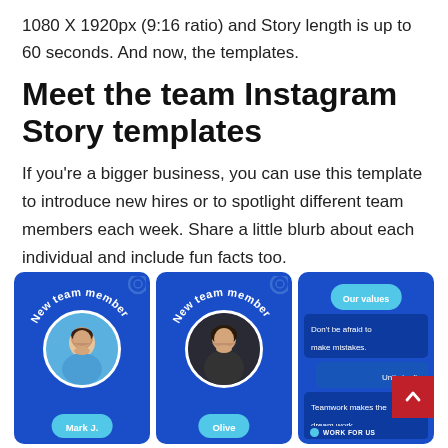1080 X 1920px (9:16 ratio) and Story length is up to 60 seconds. And now, the templates.
Meet the team Instagram Story templates
If you're a bigger business, you can use this template to introduce new hires or to spotlight different team members each week. Share a little blurb about each individual and include fun facts too.
[Figure (illustration): Three Instagram Story template cards on a blue background. First card shows 'New team member' arc text with a circular portrait of a man named Mark J. and a teal name badge. Second card shows 'New team member' arc text with a circular portrait of a woman named Olive and a teal name badge. Third card shows 'Our values' teal badge with text items: 'Don't be afraid to make mistakes.', 'Unity in div...', 'Teamwork makes the dream work.' and a 'WORK FOR US' badge. A red scroll-to-top button overlaps the third card.]